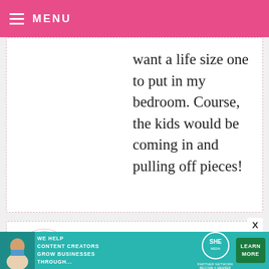MENU
want a life size one to put in my bedroom. Course, the kids would be coming in and pulling off pieces!
ANONYMOUS — APRIL 2, 2009 @ 9:32 AM
Usually just pop :) over and don't comment but really the lamb bum got me...you did GREAT on these!!! Robin Rane All Things Heart and Home
[Figure (infographic): Ad banner: WE HELP CONTENT CREATORS GROW BUSINESSES THROUGH... SHE PARTNER NETWORK BECOME A MEMBER LEARN MORE]